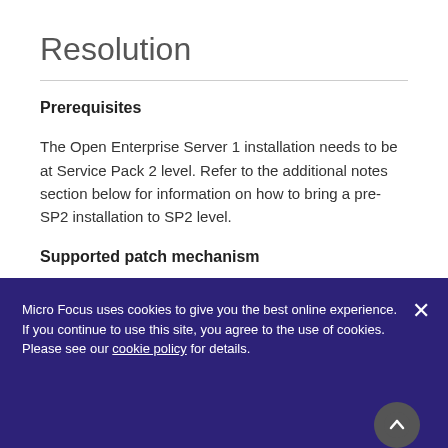Resolution
Prerequisites
The Open Enterprise Server 1 installation needs to be at Service Pack 2 level. Refer to the additional notes section below for information on how to bring a pre-SP2 installation to SP2 level.
Supported patch mechanism
The only supported patch mechanism for Open Enterprise Server 1 (Linux-based) is patch-based
Micro Focus uses cookies to give you the best online experience. If you continue to use this site, you agree to the use of cookies. Please see our cookie policy for details.